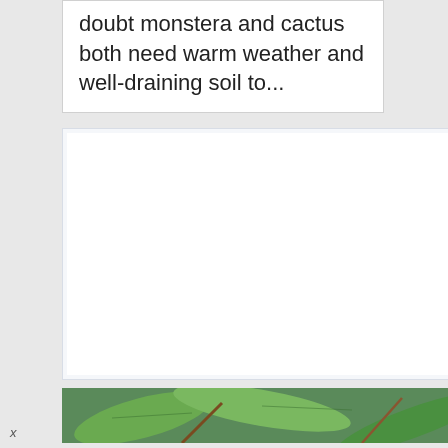doubt monstera and cactus both need warm weather and well-draining soil to...
[Figure (photo): A close-up photo of green plant leaves with some brown stems or branches, partially visible at the bottom of the page.]